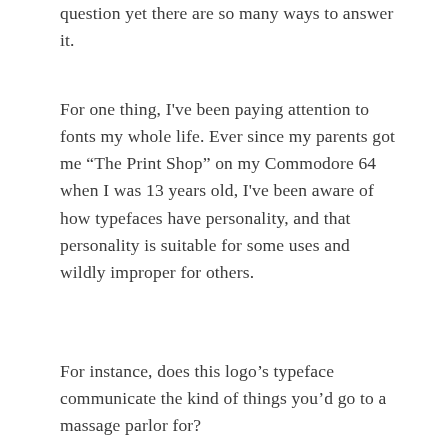question yet there are so many ways to answer it.
For one thing, I've been paying attention to fonts my whole life. Ever since my parents got me “The Print Shop” on my Commodore 64 when I was 13 years old, I've been aware of how typefaces have personality, and that personality is suitable for some uses and wildly improper for others.
For instance, does this logo’s typeface communicate the kind of things you’d go to a massage parlor for?